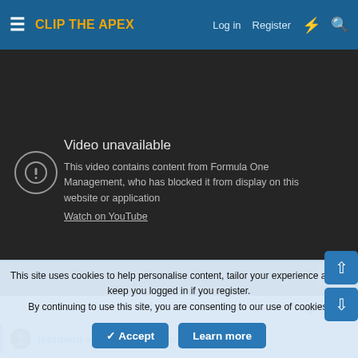CLIP THE APEX — Log in   Register
[Figure (screenshot): YouTube embedded video showing 'Video unavailable' error message. Text reads: 'Video unavailable. This video contains content from Formula One Management, who has blocked it from display on this website or application. Watch on YouTube.' A YouTube logo button is in the bottom-right corner.]
Reply
Hamberg and rufus_mcdufus
This site uses cookies to help personalise content, tailor your experience and to keep you logged in if you register.
By continuing to use this site, you are consenting to our use of cookies.